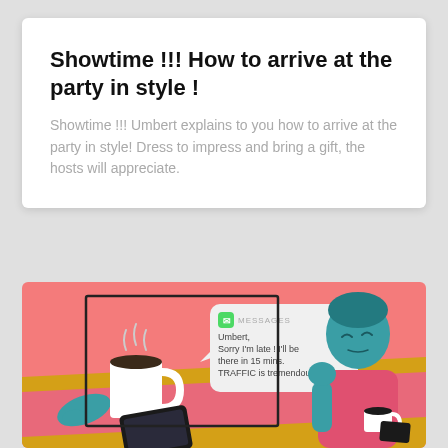Showtime !!! How to arrive at the party in style !
Showtime !!! Umbert explains to you how to arrive at the party in style! Dress to impress and bring a gift, the hosts will appreciate.
[Figure (illustration): Illustration of a woman sitting at a table with a coffee cup and phone. A message notification bubble shows text: 'Umbert, Sorry I'm late ! I'll be there in 15 mins. TRAFFIC is tremendous!' Pink and yellow geometric background with a teal-skinned character.]